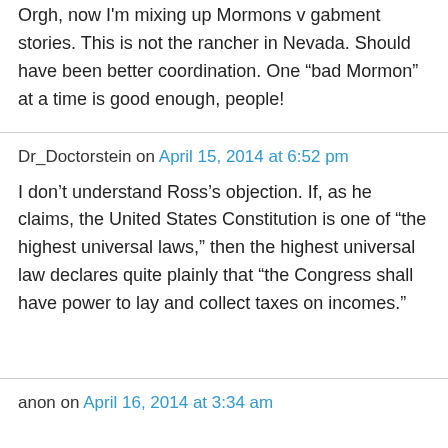Orgh, now I'm mixing up Mormons v gabment stories. This is not the rancher in Nevada. Should have been better coordination. One “bad Mormon” at a time is good enough, people!
Dr_Doctorstein on April 15, 2014 at 6:52 pm
I don’t understand Ross’s objection. If, as he claims, the United States Constitution is one of “the highest universal laws,” then the highest universal law declares quite plainly that “the Congress shall have power to lay and collect taxes on incomes.”
anon on April 16, 2014 at 3:34 am